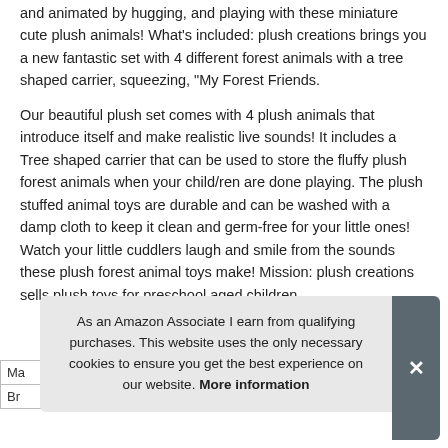and animated by hugging, and playing with these miniature cute plush animals! What's included: plush creations brings you a new fantastic set with 4 different forest animals with a tree shaped carrier, squeezing, "My Forest Friends.
Our beautiful plush set comes with 4 plush animals that introduce itself and make realistic live sounds! It includes a Tree shaped carrier that can be used to store the fluffy plush forest animals when your child/ren are done playing. The plush stuffed animal toys are durable and can be washed with a damp cloth to keep it clean and germ-free for your little ones! Watch your little cuddlers laugh and smile from the sounds these plush forest animal toys make! Mission: plush creations sells plush toys for preschool aged children.
As an Amazon Associate I earn from qualifying purchases. This website uses the only necessary cookies to ensure you get the best experience on our website. More information
| Ma |
| Br |